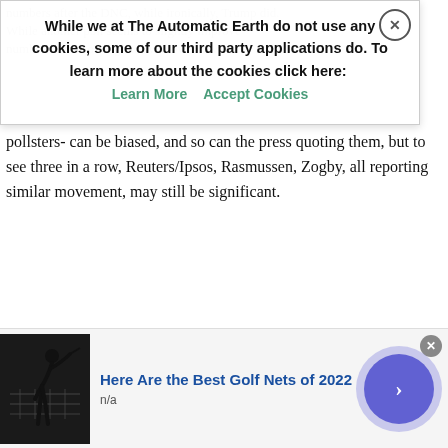numbers after the DNC, while ironically, Trump did. While another poll seems to slightly improve numbers are also tough to swallow. How polls -and pollsters- can be biased, and so can the press quoting them, but to see three in a row, Reuters/Ipsos, Rasmussen, Zogby, all reporting similar movement, may still be significant.
[Figure (other): Cookie consent overlay banner reading: 'While we at The Automatic Earth do not use any cookies, some of our third party applications do. To learn more about the cookies click here: Learn More | Accept Cookies' with a close (X) button.]
[Figure (other): Advertisement banner at the bottom: image of a golfer silhouette on dark background, text 'Here Are the Best Golf Nets of 2022', subtext 'n/a', circular arrow button on right. Close button top-right.]